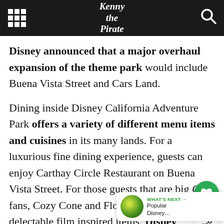Kenny the Pirate
Disney announced that a major overhaul expansion of the theme park would include Buena Vista Street and Cars Land.
Dining inside Disney California Adventure Park offers a variety of different menu items and cuisines in its many lands. For a luxurious fine dining experience, guests can enjoy Carthay Circle Restaurant on Buena Vista Street. For those guests that are big Car fans, Cozy Cone and Flo's V8 Cafe offer many delectable film inspired items. Disney California Adventure Park is also honoring Food & Wine Festival and the Festival of Holidays.